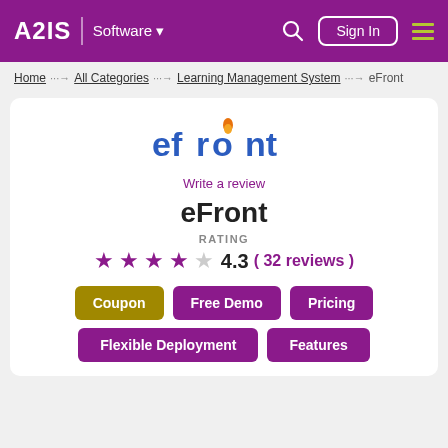A2IS | Software  Sign In
Home > All Categories > Learning Management System > eFront
[Figure (logo): eFront logo with blue and orange text]
Write a review
eFront
RATING
4.3 ( 32 reviews )
Coupon  Free Demo  Pricing
Flexible Deployment  Features